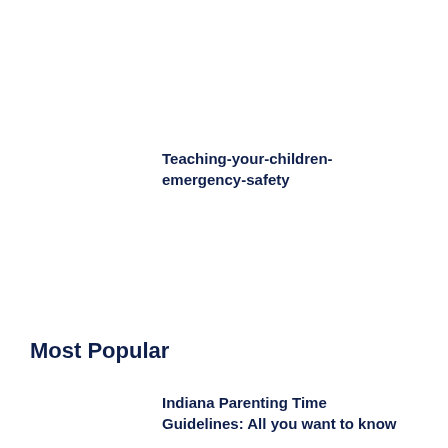Teaching-your-children-emergency-safety
Most Popular
Indiana Parenting Time Guidelines: All you want to know